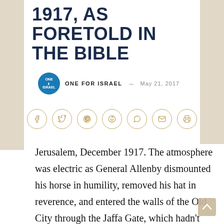1917, AS FORETOLD IN THE BIBLE
ONE FOR ISRAEL – MAY 21, 2017
[Figure (other): Social share icons: Facebook, Twitter, Pinterest, Reddit, WhatsApp, Email, Print]
Jerusalem, December 1917. The atmosphere was electric as General Allenby dismounted his horse in humility, removed his hat in reverence, and entered the walls of the Old City through the Jaffa Gate, which hadn't been in use for many years. 973 years of Muslim rule were over. Iconic footage shows Jewish people welcoming him as if he was